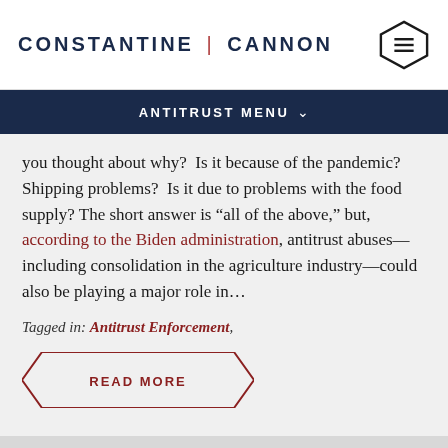CONSTANTINE | CANNON
ANTITRUST MENU
you thought about why?  Is it because of the pandemic? Shipping problems?  Is it due to problems with the food supply? The short answer is “all of the above,” but, according to the Biden administration, antitrust abuses—including consolidation in the agriculture industry—could also be playing a major role in…
Tagged in: Antitrust Enforcement,
READ MORE
DOJ and States Seek to Halt Takoff of